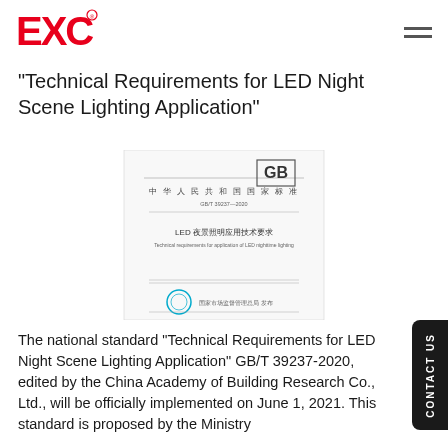EXC
"Technical Requirements for LED Night Scene Lighting Application"
[Figure (photo): Cover page of Chinese national standard document GB/T 39237-2020 'Technical Requirements for LED Night Scene Lighting Application', showing the GB logo, Chinese text for People's Republic of China National Standard, and an official seal.]
The national standard "Technical Requirements for LED Night Scene Lighting Application" GB/T 39237-2020, edited by the China Academy of Building Research Co., Ltd., will be officially implemented on June 1, 2021. This standard is proposed by the Ministry